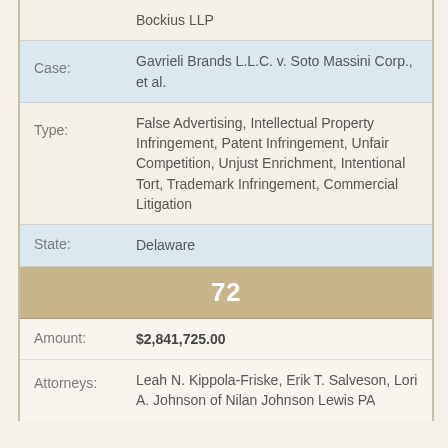| Field | Value |
| --- | --- |
|  | Bockius LLP |
| Case: | Gavrieli Brands L.L.C. v. Soto Massini Corp., et al. |
| Type: | False Advertising, Intellectual Property Infringement, Patent Infringement, Unfair Competition, Unjust Enrichment, Intentional Tort, Trademark Infringement, Commercial Litigation |
| State: | Delaware |
| 72 |  |
| Amount: | $2,841,725.00 |
| Attorneys: | Leah N. Kippola-Friske, Erik T. Salveson, Lori A. Johnson of Nilan Johnson Lewis PA |